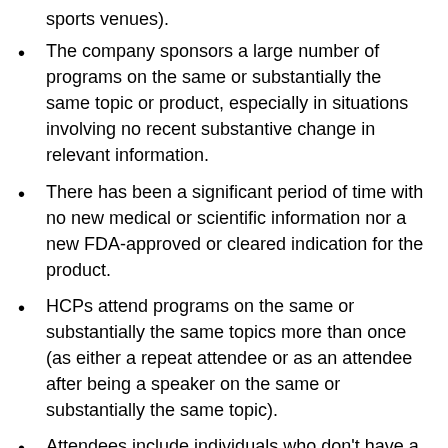sports venues).
The company sponsors a large number of programs on the same or substantially the same topic or product, especially in situations involving no recent substantive change in relevant information.
There has been a significant period of time with no new medical or scientific information nor a new FDA-approved or cleared indication for the product.
HCPs attend programs on the same or substantially the same topics more than once (as either a repeat attendee or as an attendee after being a speaker on the same or substantially the same topic).
Attendees include individuals who don't have a legitimate business reason to attend the program, including, for example, friends, significant others, or family members of the speaker or HCP attendees.